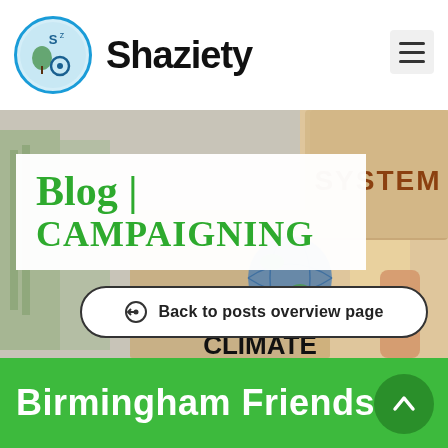Shaziety
[Figure (photo): Background photo of protest signs with 'SYSTEM' and 'NOT CLIMATE' written on cardboard, blurred urban background]
Blog | CAMPAIGNING
Back to posts overview page
Birmingham Friends